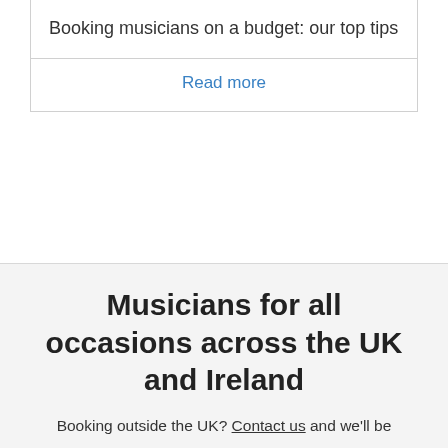Booking musicians on a budget: our top tips
Read more
Read more blog posts
Musicians for all occasions across the UK and Ireland
Booking outside the UK? Contact us and we'll be